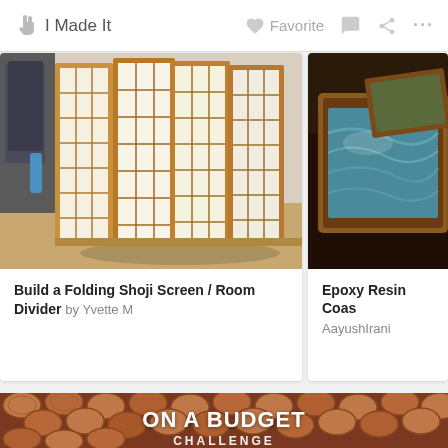I Made It   Favorite   ...
[Figure (photo): Photo of a wooden folding shoji screen / room divider with white rice paper panels, standing in a room corner]
Build a Folding Shoji Screen / Room Divider by Yvette M
[Figure (photo): Photo of epoxy resin coasters in a wooden tray, partially visible on right side]
Epoxy Resin Coa... AayushIrani
[Figure (photo): Close-up photo of pennies/coins laid flat as a floor or surface, with ON A BUDGET CHALLENGE text overlay]